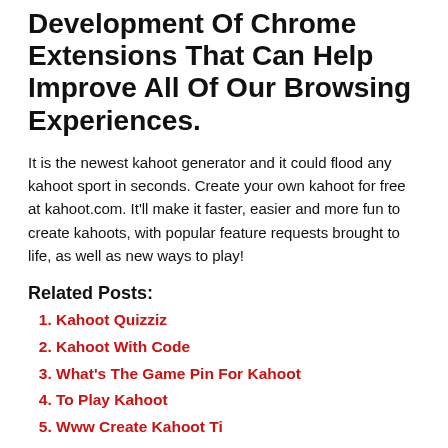Development Of Chrome Extensions That Can Help Improve All Of Our Browsing Experiences.
It is the newest kahoot generator and it could flood any kahoot sport in seconds. Create your own kahoot for free at kahoot.com. It'll make it faster, easier and more fun to create kahoots, with popular feature requests brought to life, as well as new ways to play!
Related Posts:
Kahoot Quizziz
Kahoot With Code
What's The Game Pin For Kahoot
To Play Kahoot
Www Create Kahoot Ti
Zapp Kahoot
Kahoot Google Play Store